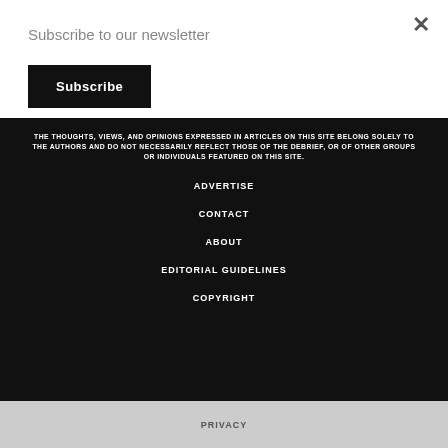Subscribe to our newsletter
Subscribe
THE THOUGHTS, VIEWS, AND OPINIONS EXPRESSED IN ARTICLES ON THIS SITE BELONG SOLELY TO THE AUTHORS AND DO NOT NECESSARILY REFLECT THOSE OF THE DEBRIEF, OR OF OTHER GROUPS OR INDIVIDUALS FEATURED ON THIS SITE.
ADVERTISE
CONTACT
ABOUT
EDITORIAL GUIDELINES
COPYRIGHT
PRIVACY